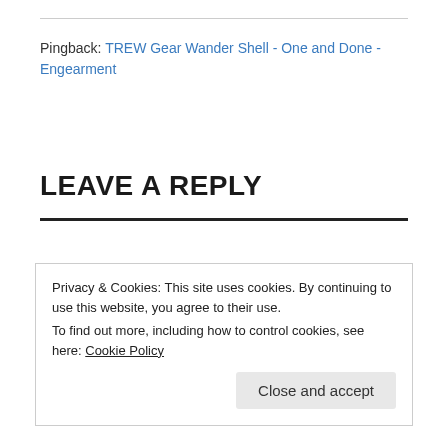Pingback: TREW Gear Wander Shell - One and Done - Engearment
LEAVE A REPLY
Privacy & Cookies: This site uses cookies. By continuing to use this website, you agree to their use.
To find out more, including how to control cookies, see here: Cookie Policy